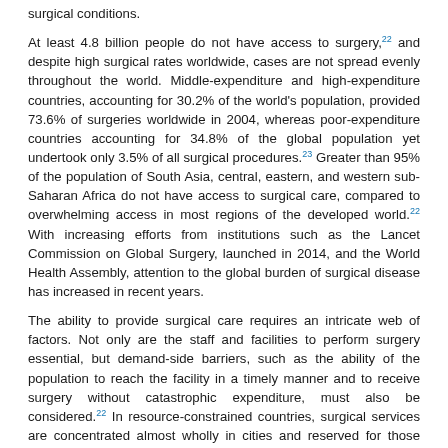surgical conditions.
At least 4.8 billion people do not have access to surgery,22 and despite high surgical rates worldwide, cases are not spread evenly throughout the world. Middle-expenditure and high-expenditure countries, accounting for 30.2% of the world's population, provided 73.6% of surgeries worldwide in 2004, whereas poor-expenditure countries accounting for 34.8% of the global population yet undertook only 3.5% of all surgical procedures.23 Greater than 95% of the population of South Asia, central, eastern, and western sub-Saharan Africa do not have access to surgical care, compared to overwhelming access in most regions of the developed world.22 With increasing efforts from institutions such as the Lancet Commission on Global Surgery, launched in 2014, and the World Health Assembly, attention to the global burden of surgical disease has increased in recent years.
The ability to provide surgical care requires an intricate web of factors. Not only are the staff and facilities to perform surgery essential, but demand-side barriers, such as the ability of the population to reach the facility in a timely manner and to receive surgery without catastrophic expenditure, must also be considered.22 In resource-constrained countries, surgical services are concentrated almost wholly in cities and reserved for those who can pay for them.24 Almost 3.7 billion people, or half of the global population, are at risk of catastrophic expenditure if surgery